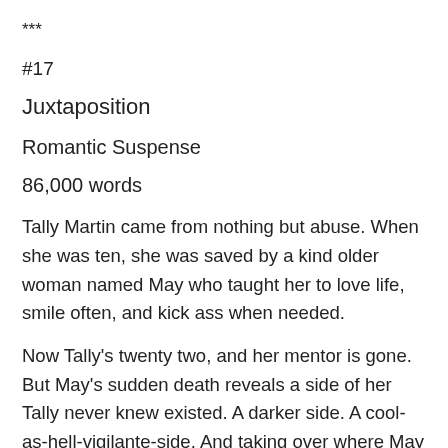***
#17
Juxtaposition
Romantic Suspense
86,000 words
Tally Martin came from nothing but abuse. When she was ten, she was saved by a kind older woman named May who taught her to love life, smile often, and kick ass when needed.
Now Tally's twenty two, and her mentor is gone. But May's sudden death reveals a side of her Tally never knew existed. A darker side. A cool-as-hell-vigilante-side. And taking over where May left off is just the focus Tally needs